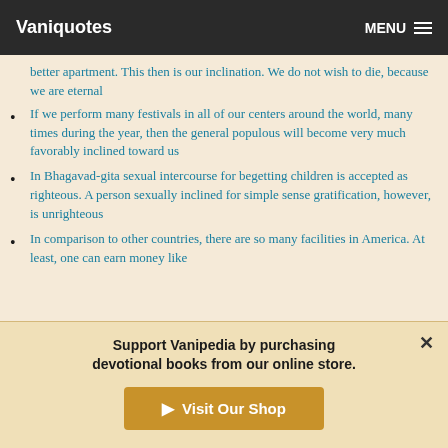Vaniquotes  MENU
better apartment. This then is our inclination. We do not wish to die, because we are eternal
If we perform many festivals in all of our centers around the world, many times during the year, then the general populous will become very much favorably inclined toward us
In Bhagavad-gita sexual intercourse for begetting children is accepted as righteous. A person sexually inclined for simple sense gratification, however, is unrighteous
In comparison to other countries, there are so many facilities in America. At least, one can earn money like
Support Vanipedia by purchasing devotional books from our online store.
Visit Our Shop